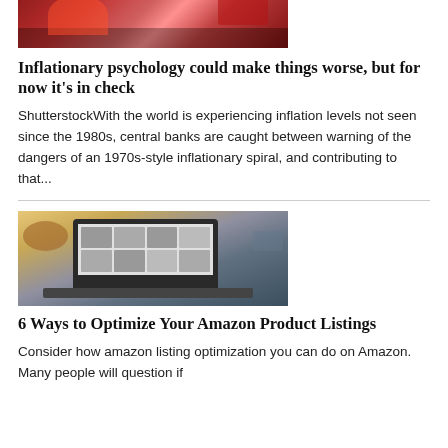[Figure (photo): Red-lit scene, possibly a tent or stage with dramatic lighting]
Inflationary psychology could make things worse, but for now it's in check
ShutterstockWith the world is experiencing inflation levels not seen since the 1980s, central banks are caught between warning of the dangers of an 1970s-style inflationary spiral, and contributing to that...
[Figure (photo): Laptop computer on a desk showing product listings on screen]
6 Ways to Optimize Your Amazon Product Listings
Consider how amazon listing optimization you can do on Amazon. Many people will question if